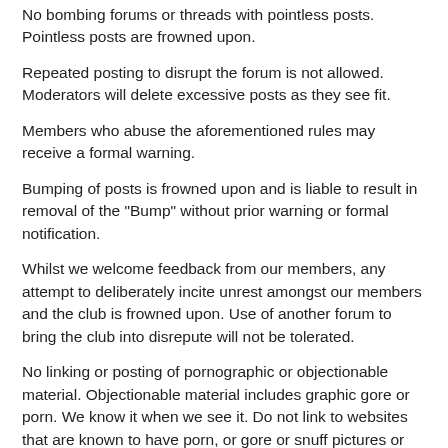No bombing forums or threads with pointless posts. Pointless posts are frowned upon.
Repeated posting to disrupt the forum is not allowed. Moderators will delete excessive posts as they see fit.
Members who abuse the aforementioned rules may receive a formal warning.
Bumping of posts is frowned upon and is liable to result in removal of the "Bump" without prior warning or formal notification.
Whilst we welcome feedback from our members, any attempt to deliberately incite unrest amongst our members and the club is frowned upon. Use of another forum to bring the club into disrepute will not be tolerated.
No linking or posting of pornographic or objectionable material. Objectionable material includes graphic gore or porn. We know it when we see it. Do not link to websites that are known to have porn, or gore or snuff pictures or videos, real or not. This is grounds for banning. Usage of our anything goes forum is still subject to this rule.
Do not impersonate other individuals or falsely represent yourself.